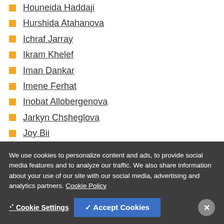Houneida Haddaji
Hurshida Atahanova
Ichraf Jarray
Ikram Khelef
Iman Dankar
Imene Ferhat
Inobat Allobergenova
Jarkyn Chsheglova
Joy Bii
Julia Tyan
Kseniia Tsyganova
We use cookies to personalize content and ads, to provide social media features and to analyze our traffic. We also share information about your use of our site with our social media, advertising and analytics partners. Cookie Policy